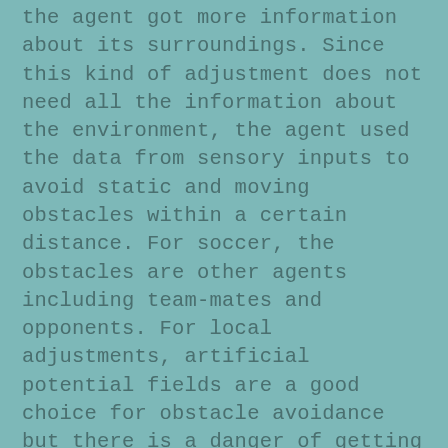the agent got more information about its surroundings. Since this kind of adjustment does not need all the information about the environment, the agent used the data from sensory inputs to avoid static and moving obstacles within a certain distance. For soccer, the obstacles are other agents including team-mates and opponents. For local adjustments, artificial potential fields are a good choice for obstacle avoidance but there is a danger of getting trapped in local minima. Artificial potential fields are in which the agent is attracted to its target position and repulsed by the obstacles, thus a resultant force moves the robot towards the goal by avoiding the obstacles [16]. Directional weighting method [17] provides the necessary model for potential field method. Further improvements to the method were added for